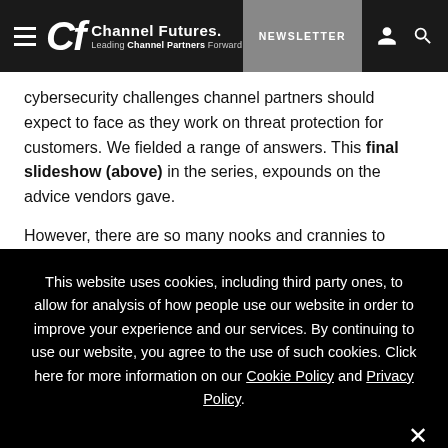Channel Futures — Leading Channel Partners Forward | NEWSLETTER
cybersecurity challenges channel partners should expect to face as they work on threat protection for customers. We fielded a range of answers. This final slideshow (above) in the series, expounds on the advice vendors gave.
However, there are so many nooks and crannies to
This website uses cookies, including third party ones, to allow for analysis of how people use our website in order to improve your experience and our services. By continuing to use our website, you agree to the use of such cookies. Click here for more information on our Cookie Policy and Privacy Policy.